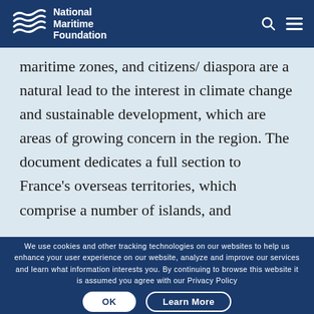National Maritime Foundation
maritime zones, and citizens/ diaspora are a natural lead to the interest in climate change and sustainable development, which are areas of growing concern in the region.  The document dedicates a full section to France's overseas territories, which comprise a number of islands, and
We use cookies and other tracking technologies on our websites to help us enhance your user experience on our website, analyze and improve our services and learn what information interests you. By continuing to browse this website it is assumed you agree with our Privacy Policy
OK
Learn More